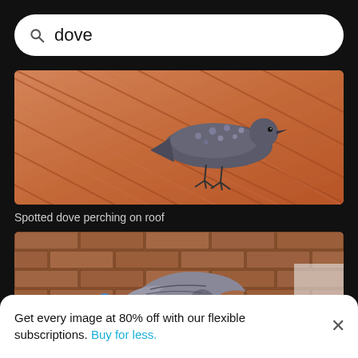dove
[Figure (photo): Spotted dove perching on a terracotta/red roof tiles, side profile view]
Spotted dove perching on roof
[Figure (photo): A dove landing on a person's outstretched hand with blue nail polish, brick wall background]
Get every image at 80% off with our flexible subscriptions. Buy for less.